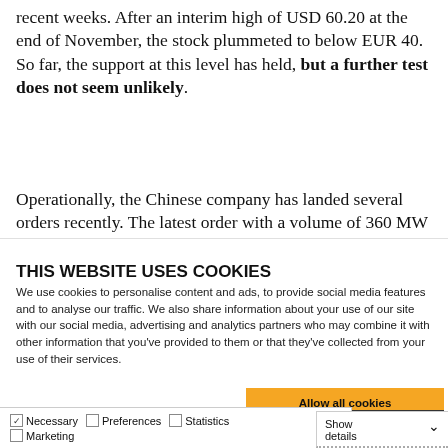recent weeks. After an interim high of USD 60.20 at the end of November, the stock plummeted to below EUR 40. So far, the support at this level has held, but a further test does not seem unlikely.
Operationally, the Chinese company has landed several orders recently. The latest order with a volume of 360 MW
THIS WEBSITE USES COOKIES
We use cookies to personalise content and ads, to provide social media features and to analyse our traffic. We also share information about your use of our site with our social media, advertising and analytics partners who may combine it with other information that you've provided to them or that they've collected from your use of their services.
Allow all cookies
Allow selection
Use necessary cookies only
Necessary  Preferences  Statistics  Show details  Marketing